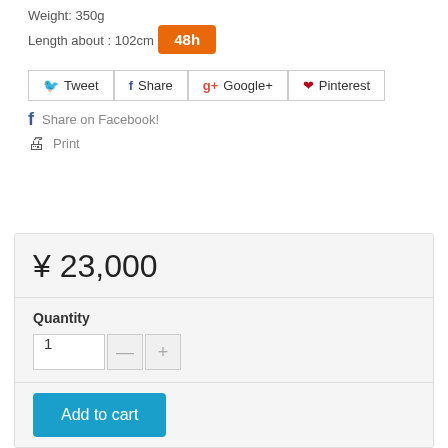Weight: 350g
Length about : 102cm
[Figure (other): Orange badge/button showing '48h']
[Figure (other): Social sharing buttons row: Tweet, Share, Google+, Pinterest]
Share on Facebook!
Print
¥ 23,000
Quantity
Add to cart